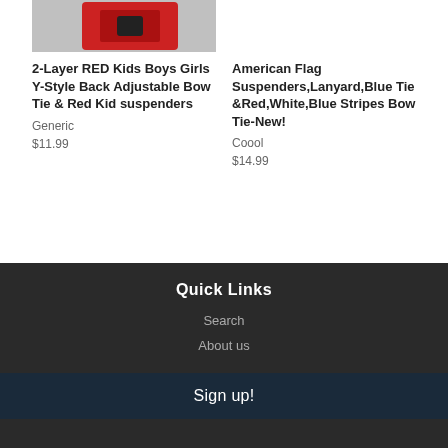[Figure (photo): Red kids suspenders product photo - partial view at top of page]
2-Layer RED Kids Boys Girls Y-Style Back Adjustable Bow Tie & Red Kid suspenders
Generic
$11.99
American Flag Suspenders,Lanyard,Blue Tie &Red,White,Blue Stripes Bow Tie-New!
Coool
$14.99
Quick Links
Search
About us
Sign up!